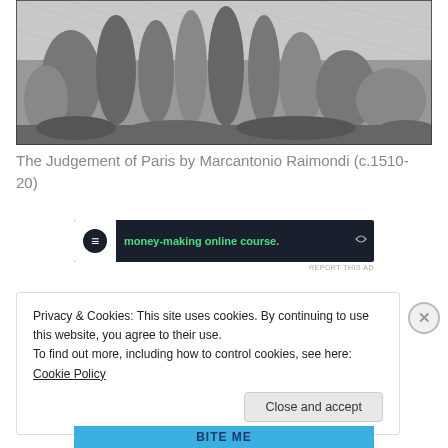[Figure (illustration): Black and white engraving showing The Judgement of Paris scene with multiple classical figures in a landscape setting]
The Judgement of Paris by Marcantonio Raimondi (c.1510-20)
[Figure (other): Advertisement banner with dark background showing money-making online course with green text and circular icon]
REPORT THIS AD
Privacy & Cookies: This site uses cookies. By continuing to use this website, you agree to their use.
To find out more, including how to control cookies, see here: Cookie Policy
Close and accept